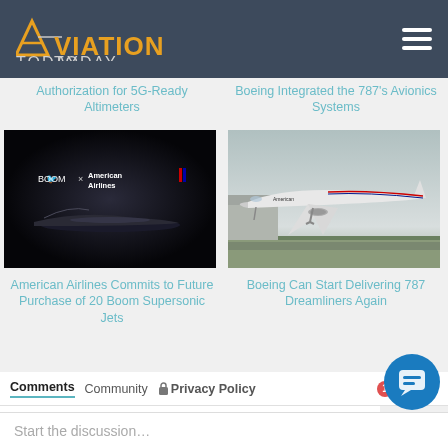Aviation Today
Authorization for 5G-Ready Altimeters
[Figure (photo): Dark promotional image showing BOOM x American Airlines supersonic aircraft Overture]
American Airlines Commits to Future Purchase of 20 Boom Supersonic Jets
Boeing Integrated the 787's Avionics Systems
[Figure (photo): American Airlines Boeing 787 Dreamliner aircraft taking off]
Boeing Can Start Delivering 787 Dreamliners Again
Comments  Community  🔒 Privacy Policy  🔴1  Login ▾
♡ Favorite  Sort
Start the discussion…